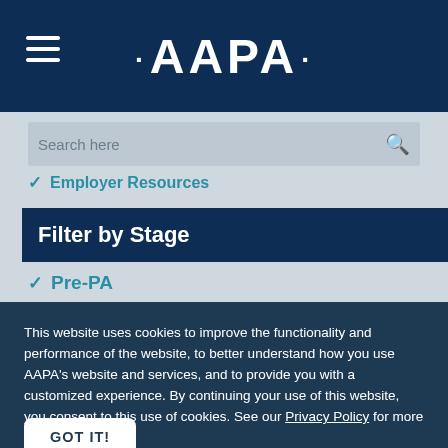[Figure (logo): AAPA logo in white on dark navy header with hamburger menu icon on the left]
Search here
✓ Employer Resources
Filter by Stage
✓ Pre-PA
✓ PA Student
✓ New Grad
✓ Mid/Later Career
This website uses cookies to improve the functionality and performance of the website, to better understand how you use AAPA's website and services, and to provide you with a customized experience. By continuing your use of this website, you consent to this use of cookies. See our Privacy Policy for more information.
GOT IT!